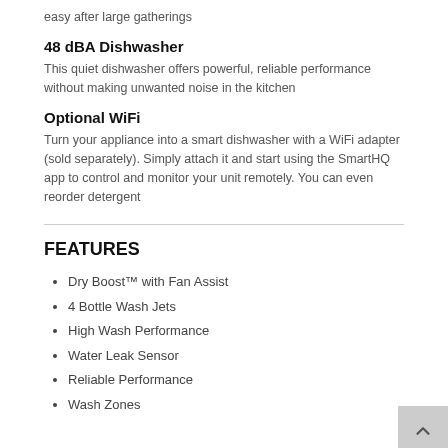easy after large gatherings
48 dBA Dishwasher
This quiet dishwasher offers powerful, reliable performance without making unwanted noise in the kitchen
Optional WiFi
Turn your appliance into a smart dishwasher with a WiFi adapter (sold separately). Simply attach it and start using the SmartHQ app to control and monitor your unit remotely. You can even reorder detergent
FEATURES
Dry Boost™ with Fan Assist
4 Bottle Wash Jets
High Wash Performance
Water Leak Sensor
Reliable Performance
Wash Zones